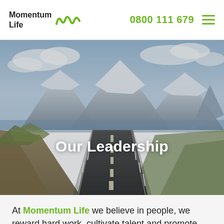Momentum Life | 0800 111 679
[Figure (photo): Scenic New Zealand road with snow-capped mountains in background, winding highway with white dashes, blue sky with clouds, alpine landscape]
Our Leadership
At Momentum Life we believe in people, we reward hard work, cultivate talent and promote the